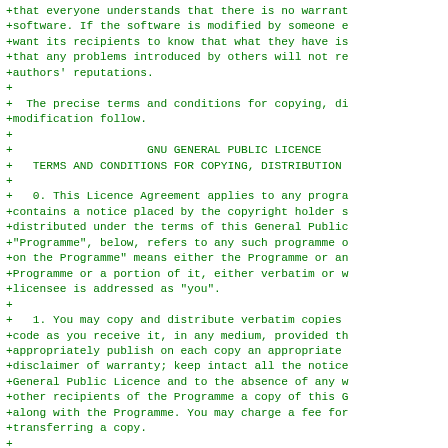+that everyone understands that there is no warrant
+software. If the software is modified by someone e
+want its recipients to know that what they have is
+that any problems introduced by others will not re
+authors' reputations.
+
+  The precise terms and conditions for copying, di
+modification follow.
+
+                    GNU GENERAL PUBLIC LICENCE
+   TERMS AND CONDITIONS FOR COPYING, DISTRIBUTION
+
+   0. This Licence Agreement applies to any progra
+contains a notice placed by the copyright holder s
+distributed under the terms of this General Public
+"Programme", below, refers to any such programme o
+on the Programme" means either the Programme or an
+Programme or a portion of it, either verbatim or w
+licensee is addressed as "you".
+
+   1. You may copy and distribute verbatim copies
+code as you receive it, in any medium, provided th
+appropriately publish on each copy an appropriate
+disclaimer of warranty; keep intact all the notice
+General Public Licence and to the absence of any w
+other recipients of the Programme a copy of this G
+along with the Programme. You may charge a fee for
+transferring a copy.
+
+   2. You may modify your copy or copies of the Pr